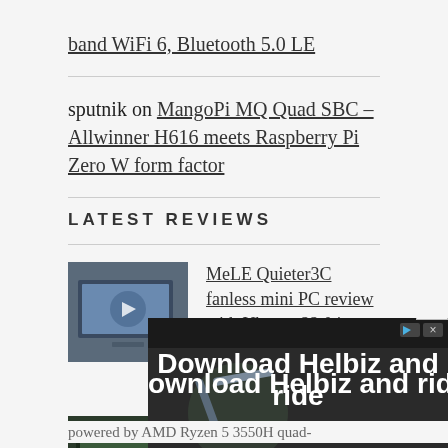band WiFi 6, Bluetooth 5.0 LE
sputnik on MangoPi MQ Quad SBC – Allwinner H616 meets Raspberry Pi Zero W form factor
LATEST REVIEWS
MeLE Quieter3C fanless mini PC review with Ubuntu 22.04, Windows 11
MeLE's newly launched Quieter3C is an update to their earlier Quieter3Q product which replaces one of the [...]
Trigkey Speed S3 mini PC review – Part 1:
powered by AMD Ryzen 5 3550H quad-
[Figure (screenshot): Advertisement banner: Download Helbiz and ride, with close button (×) and ad indicator icons]
[Figure (photo): Thumbnail for MeLE Quieter3C review showing a blue screen device]
[Figure (photo): Thumbnail for Trigkey Speed S3 mini PC review showing a dark device]